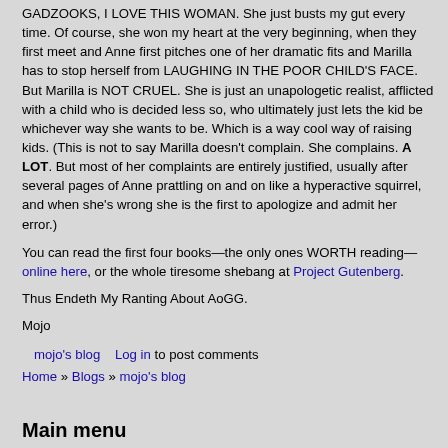GADZOOKS, I LOVE THIS WOMAN. She just busts my gut every time. Of course, she won my heart at the very beginning, when they first meet and Anne first pitches one of her dramatic fits and Marilla has to stop herself from LAUGHING IN THE POOR CHILD'S FACE. But Marilla is NOT CRUEL. She is just an unapologetic realist, afflicted with a child who is decided less so, who ultimately just lets the kid be whichever way she wants to be. Which is a way cool way of raising kids. (This is not to say Marilla doesn't complain. She complains. A LOT. But most of her complaints are entirely justified, usually after several pages of Anne prattling on and on like a hyperactive squirrel, and when she's wrong she is the first to apologize and admit her error.)
You can read the first four books—the only ones WORTH reading—online here, or the whole tiresome shebang at Project Gutenberg.
Thus Endeth My Ranting About AoGG.
Mojo
mojo's blog   Log in to post comments
Home » Blogs » mojo's blog
Main menu